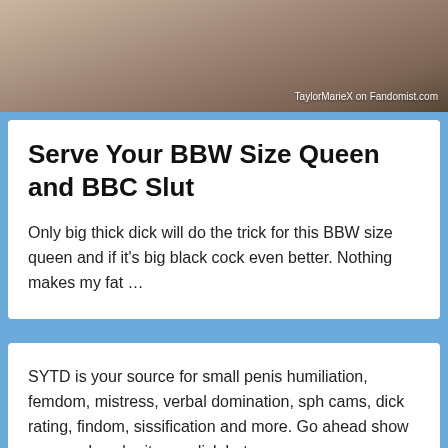[Figure (photo): A photo of a person on a leopard print surface with a watermark reading 'TaylorMarieX on Fandomist.com']
Serve Your BBW Size Queen and BBC Slut
Only big thick dick will do the trick for this BBW size queen and if it's big black cock even better. Nothing makes my fat …
SYTD is your source for small penis humiliation, femdom, mistress, verbal domination, sph cams, dick rating, findom, sissification and more. Go ahead show your cock, submit your dick but